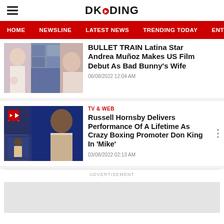DKODING
HOME  NEWSLINE  LATEST NEWS  TRENDING TODAY  ENT
[Figure (photo): Collage of entertainment celebrities including women with colorful background]
BULLET TRAIN Latina Star Andrea Muñoz Makes US Film Debut As Bad Bunny's Wife
06/08/2022 12:04 AM
[Figure (photo): TV show Mike thumbnail with a man in foreground and boxing/music imagery]
TV & WEB
Russell Hornsby Delivers Performance Of A Lifetime As Crazy Boxing Promoter Don King In 'Mike'
03/08/2022 02:13 AM
ADVERTISEMENT